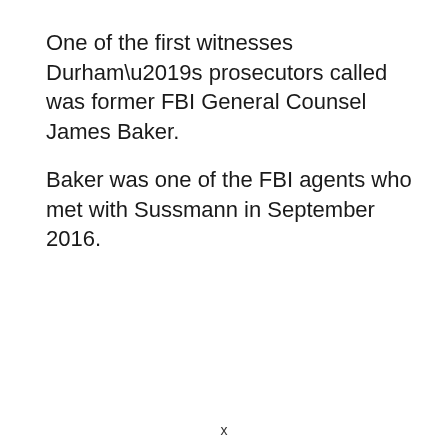One of the first witnesses Durham’s prosecutors called was former FBI General Counsel James Baker.
Baker was one of the FBI agents who met with Sussmann in September 2016.
x